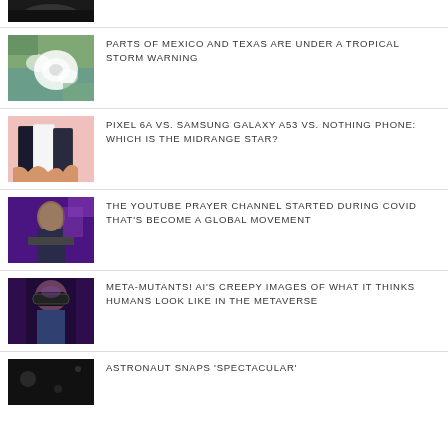[Figure (photo): Partial view of a dark image, possibly a car or vehicle]
[Figure (photo): Satellite view of a tropical storm/hurricane over Mexico and Texas]
PARTS OF MEXICO AND TEXAS ARE UNDER A TROPICAL STORM WARNING
[Figure (photo): Three smartphones held in hands on a pink background - Pixel 6A, Samsung Galaxy A53, Nothing Phone]
PIXEL 6A VS. SAMSUNG GALAXY A53 VS. NOTHING PHONE: WHICH IS THE MIDRANGE STAR?
[Figure (photo): A man on stage with purple lighting during a YouTube prayer channel broadcast]
THE YOUTUBE PRAYER CHANNEL STARTED DURING COVID THAT'S BECOME A GLOBAL MOVEMENT
[Figure (photo): A woman wearing a VR headset in dark purple/blue lighting representing the metaverse]
META-MUTANTS! AI'S CREEPY IMAGES OF WHAT IT THINKS HUMANS LOOK LIKE IN THE METAVERSE
[Figure (photo): Dark space image for astronaut article]
ASTRONAUT SNAPS 'SPECTACULAR'